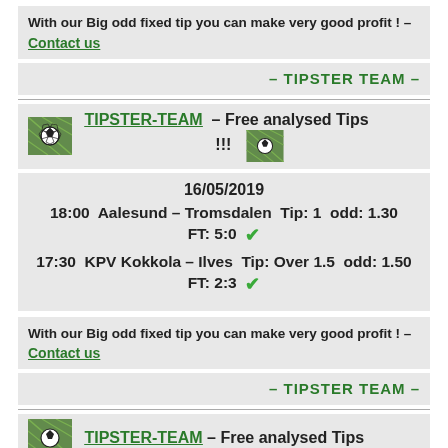With our Big odd fixed tip you can make very good profit ! – Contact us
– TIPSTER TEAM –
TIPSTER-TEAM – Free analysed Tips !!!
16/05/2019
18:00 Aalesund – Tromsdalen Tip: 1 odd: 1.30 FT: 5:0 ✓
17:30 KPV Kokkola – Ilves Tip: Over 1.5 odd: 1.50 FT: 2:3 ✓
With our Big odd fixed tip you can make very good profit ! – Contact us
– TIPSTER TEAM –
TIPSTER-TEAM – Free analysed Tips